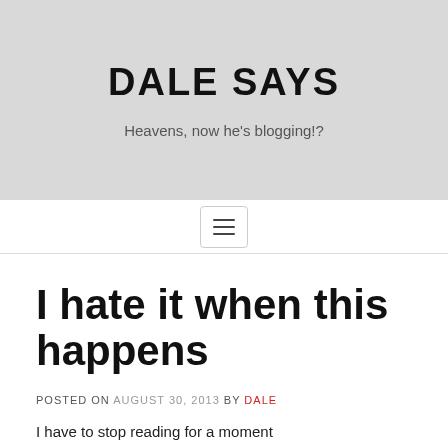DALE SAYS
Heavens, now he's blogging!?
I hate it when this happens
POSTED ON AUGUST 30, 2013 BY DALE
I have to stop reading for a moment